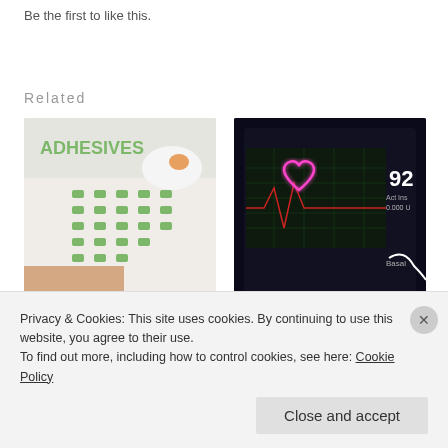Be the first to like this.
Related
[Figure (photo): Photo of Dexcom adhesive patches on white fabric with green dot pattern, hand holding sensor]
[Figure (photo): Photo of Medtronic Guardian sensor/monitor device with pink neon heart display showing 92]
The Best Dexcom Adhesives – They're FREE
Extending a Medtronic Guardian Sensor
Privacy & Cookies: This site uses cookies. By continuing to use this website, you agree to their use.
To find out more, including how to control cookies, see here: Cookie Policy
Close and accept